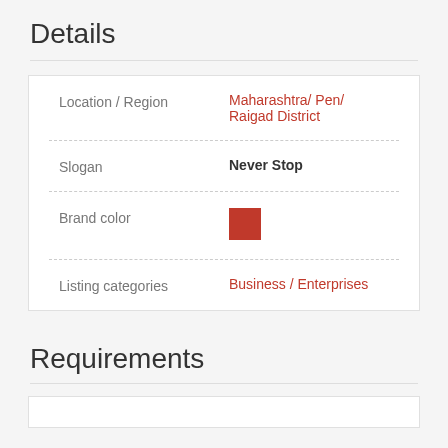Details
| Field | Value |
| --- | --- |
| Location / Region | Maharashtra/ Pen/ Raigad District |
| Slogan | Never Stop |
| Brand color | [red color swatch] |
| Listing categories | Business / Enterprises |
Requirements